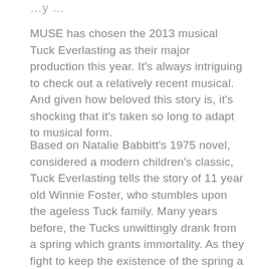…y …
MUSE has chosen the 2013 musical Tuck Everlasting as their major production this year. It's always intriguing to check out a relatively recent musical. And given how beloved this story is, it's shocking that it's taken so long to adapt to musical form.
Based on Natalie Babbitt's 1975 novel, considered a modern children's classic, Tuck Everlasting tells the story of 11 year old Winnie Foster, who stumbles upon the ageless Tuck family. Many years before, the Tucks unwittingly drank from a spring which grants immortality. As they fight to keep the existence of the spring a secret, Winnie finds herself longing for the same eternal life. But in